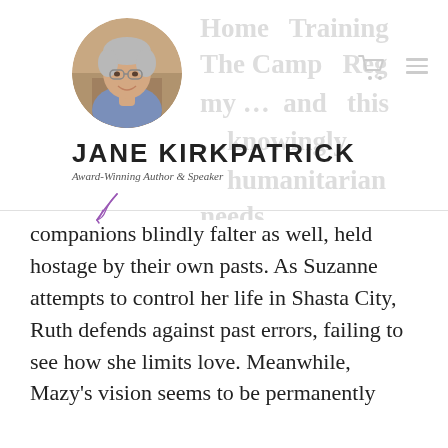[Figure (photo): Circular headshot photo of Jane Kirkpatrick, a woman with short grey hair and glasses, smiling]
JANE KIRKPATRICK
Award-Winning Author & Speaker
[Figure (illustration): Small decorative purple quill/feather pen icon]
companions blindly falter as well, held hostage by their own pasts. As Suzanne attempts to control her life in Shasta City, Ruth defends against past errors, failing to see how she limits love. Meanwhile, Mazy's vision seems to be permanently